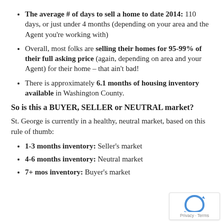The average # of days to sell a home to date 2014: 110 days, or just under 4 months (depending on your area and the Agent you're working with)
Overall, most folks are selling their homes for 95-99% of their full asking price (again, depending on area and your Agent) for their home – that ain't bad!
There is approximately 6.1 months of housing inventory available in Washington County.
So is this a BUYER, SELLER or NEUTRAL market?
St. George is currently in a healthy, neutral market, based on this rule of thumb:
1-3 months inventory: Seller's market
4-6 months inventory: Neutral market
7+ mos inventory: Buyer's market